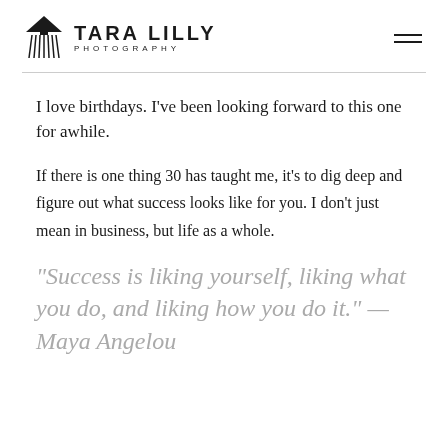TARA LILLY PHOTOGRAPHY
I love birthdays. I've been looking forward to this one for awhile.
If there is one thing 30 has taught me, it's to dig deep and figure out what success looks like for you. I don't just mean in business, but life as a whole.
"Success is liking yourself, liking what you do, and liking how you do it." — Maya Angelou